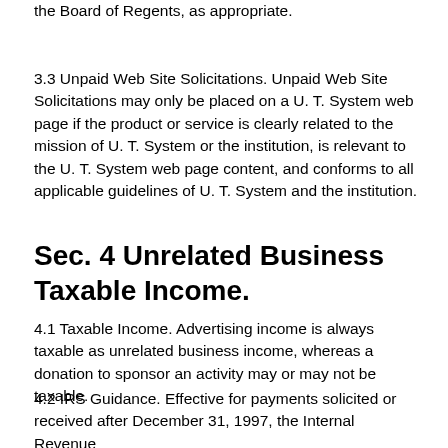the Board of Regents, as appropriate.
3.3 Unpaid Web Site Solicitations. Unpaid Web Site Solicitations may only be placed on a U. T. System web page if the product or service is clearly related to the mission of U. T. System or the institution, is relevant to the U. T. System web page content, and conforms to all applicable guidelines of U. T. System and the institution.
Sec. 4 Unrelated Business Taxable Income.
4.1 Taxable Income. Advertising income is always taxable as unrelated business income, whereas a donation to sponsor an activity may or may not be taxable.
4.2 IRS Guidance. Effective for payments solicited or received after December 31, 1997, the Internal Revenue